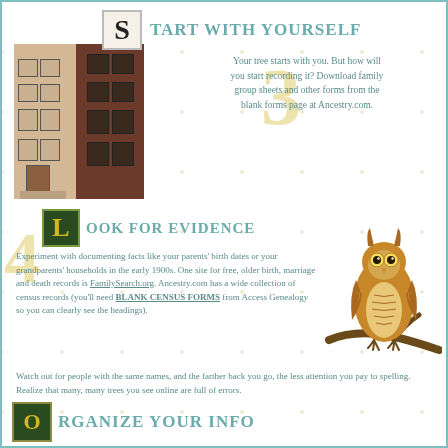START WITH YOURSELF
[Figure (photo): Photo of historic row houses/townhouses, showing beige and red brick buildings]
Your tree starts with you. But how will you start recording it? Download family group sheets and other forms from the blank forms page at Ancestry.com.
LOOK FOR EVIDENCE
[Figure (illustration): Illustration of an owl perched on a branch]
Experiment with documenting facts like your parents' birth dates or your grandparents' households in the early 1900s. One site for free, older birth, marriage and death records is FamilySearch.org. Ancestry.com has a wide collection of census records (you'll need BLANK CENSUS FORMS from Access Genealogy so you can clearly see the headings).
Watch out for people with the same names, and the farther back you go, the less attention you pay to spelling. Realize that many, many trees you see online are full of errors.
ORGANIZE YOUR INFO